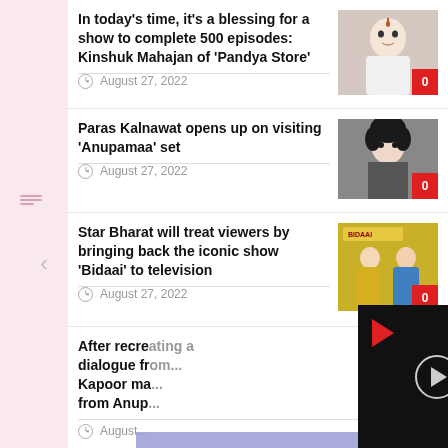[Figure (screenshot): News listing page showing Indian TV show articles with thumbnails, dates, and comment counts. A video player overlay appears in the bottom right.]
In today's time, it's a blessing for a show to complete 500 episodes: Kinshuk Mahajan of 'Pandya Store'
August 27, 2022
Paras Kalnawat opens up on visiting 'Anupamaa' set
August 27, 2022
Star Bharat will treat viewers by bringing back the iconic show 'Bidaai' to television
August 27, 2022
After recreating a dialogue fr... Kapoor ma... from Anup...
August...